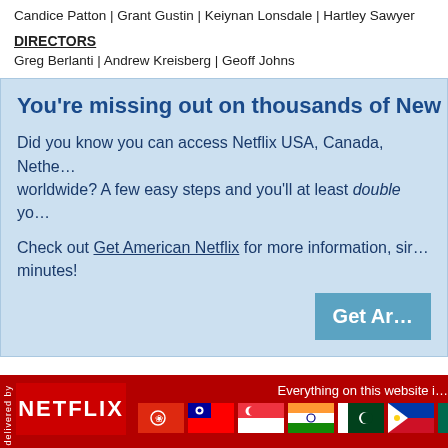Candice Patton | Grant Gustin | Keiynan Lonsdale | Hartley Sawyer
DIRECTORS
Greg Berlanti | Andrew Kreisberg | Geoff Johns
You're missing out on thousands of New Netflix titles
Did you know you can access Netflix USA, Canada, Netherlands and more worldwide? A few easy steps and you'll at least double your content!
Check out Get American Netflix for more information, sign up in minutes!
[Figure (screenshot): Netflix footer with logo, country flags, and 'Everything on this website' text]